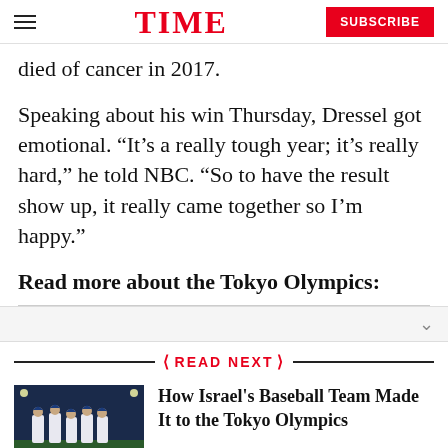TIME  SUBSCRIBE
died of cancer in 2017.
Speaking about his win Thursday, Dressel got emotional. “It’s a really tough year; it’s really hard,” he told NBC. “So to have the result show up, it really came together so I’m happy.”
Read more about the Tokyo Olympics:
READ NEXT
How Israel's Baseball Team Made It to the Tokyo Olympics